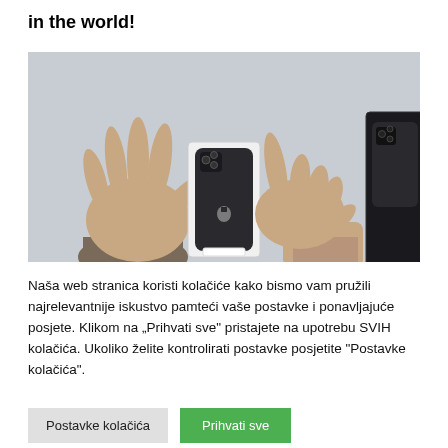in the world!
[Figure (photo): Two hands on a gray surface with an iPhone in a box and another iPhone box to the right]
Naša web stranica koristi kolačiće kako bismo vam pružili najrelevantnije iskustvo pamteći vaše postavke i ponavljajuće posjete. Klikom na „Prihvati sve" pristajete na upotrebu SVIH kolačića. Ukoliko želite kontrolirati postavke posjetite "Postavke kolačića".
Postavke kolačića    Prihvati sve